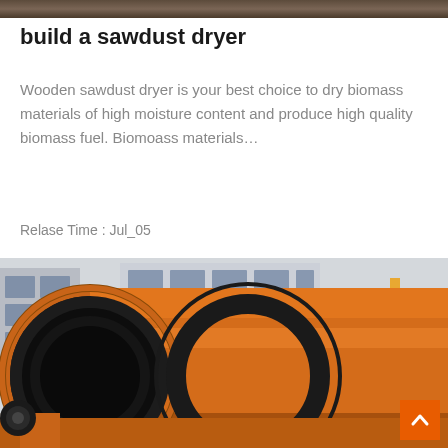[Figure (photo): A narrow horizontal strip at the very top of the page showing a partial industrial/machinery image in dark brownish tones.]
build a sawdust dryer
Wooden sawdust dryer is your best choice to dry biomass materials of high moisture content and produce high quality biomass fuel. Biomoass materials…
Relase Time : Jul_05
[Figure (photo): Close-up photo of a large orange rotary drum dryer machine with a circular opening visible at the front, a black gear ring in the middle, and an industrial building in the background. A small orange back-to-top button with a white chevron arrow is in the lower right corner.]